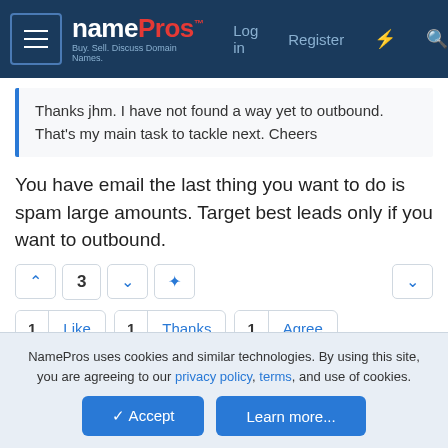namePros - Log in | Register
Thanks jhm. I have not found a way yet to outbound. That’s my main task to tackle next. Cheers
You have email the last thing you want to do is spam large amounts. Target best leads only if you want to outbound.
1 Like  1 Thanks  1 Agree
Robert27
Established Member
NamePros uses cookies and similar technologies. By using this site, you are agreeing to our privacy policy, terms, and use of cookies.